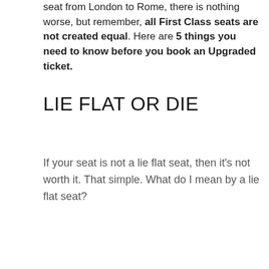seat from London to Rome, there is nothing worse, but remember, all First Class seats are not created equal. Here are 5 things you need to know before you book an Upgraded ticket.
LIE FLAT OR DIE
If your seat is not a lie flat seat, then it's not worth it. That simple. What do I mean by a lie flat seat?